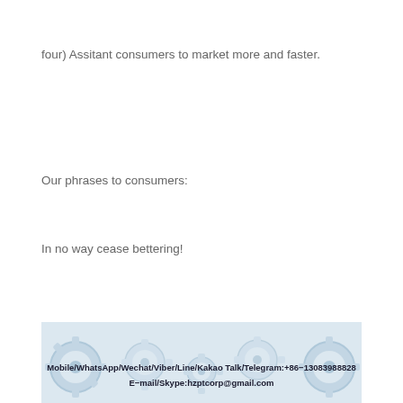four) Assitant consumers to market more and faster.
Our phrases to consumers:
In no way cease bettering!
[Figure (illustration): Decorative banner with blue-grey gear/cog pattern background. Contains contact information: Mobile/WhatsApp/Wechat/Viber/Line/Kakao Talk/Telegram:+86-13083988828 and E-mail/Skype:hzptcorp@gmail.com]